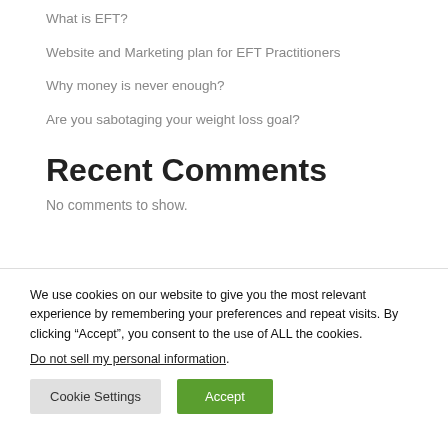What is EFT?
Website and Marketing plan for EFT Practitioners
Why money is never enough?
Are you sabotaging your weight loss goal?
Recent Comments
No comments to show.
We use cookies on our website to give you the most relevant experience by remembering your preferences and repeat visits. By clicking “Accept”, you consent to the use of ALL the cookies.
Do not sell my personal information.
Cookie Settings  Accept